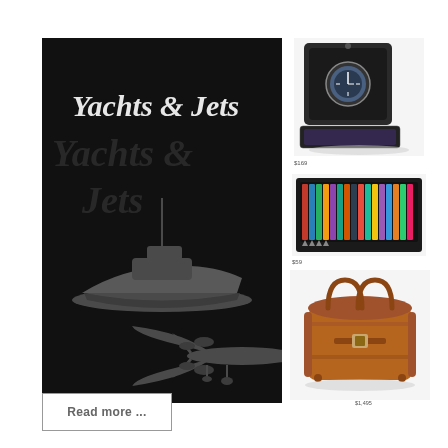[Figure (illustration): Black book cover with 'Yachts & Jets' text in cursive silver script, silhouettes of a yacht and private jet in gray]
[Figure (photo): Single watch winder box in black leather with a watch inside, drawer open showing purple interior]
$169
[Figure (photo): Collection of colorful pens/markers displayed upright in a black case]
$59
[Figure (photo): Brown leather luxury travel bag (Birkin-style) with top handles and buckle closures]
$1,495
Read more ...